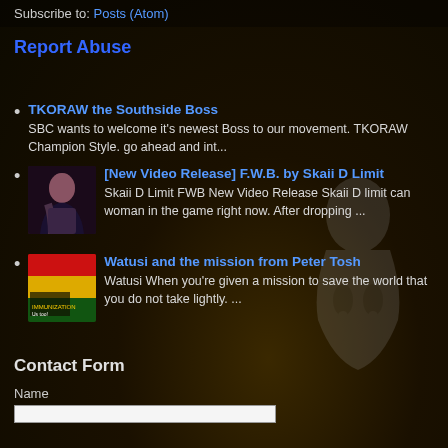Subscribe to: Posts (Atom)
Report Abuse
TKORAW the Southside Boss
SBC wants to welcome it's newest Boss to our movement. TKORAW Champion Style. go ahead and int...
[New Video Release] F.W.B. by Skaii D Limit
Skaii D Limit  FWB New Video Release Skaii D limit can woman in the game right now. After dropping ...
Watusi and the mission from Peter Tosh
Watusi   When you're given a mission to save the world that you do not take lightly. ...
Contact Form
Name